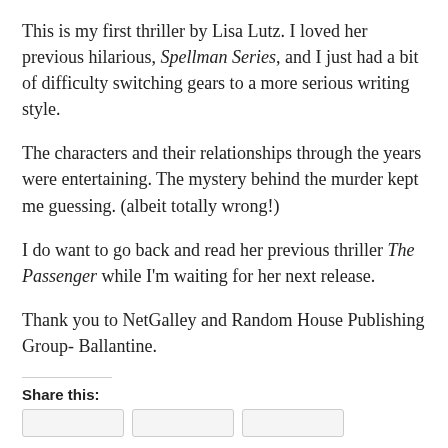This is my first thriller by Lisa Lutz. I loved her previous hilarious, Spellman Series, and I just had a bit of difficulty switching gears to a more serious writing style.
The characters and their relationships through the years were entertaining. The mystery behind the murder kept me guessing. (albeit totally wrong!)
I do want to go back and read her previous thriller The Passenger while I'm waiting for her next release.
Thank you to NetGalley and Random House Publishing Group- Ballantine.
Share this: